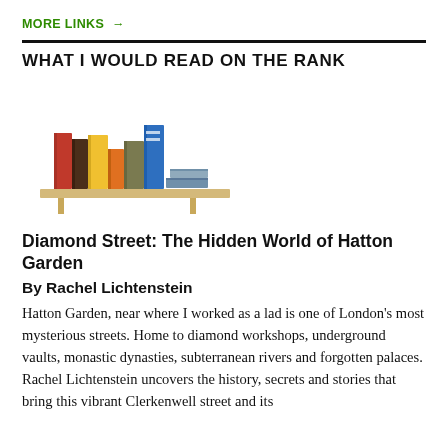MORE LINKS →
WHAT I WOULD READ ON THE RANK
[Figure (illustration): A bookshelf illustration with several colorful books standing upright (red, dark brown, yellow, olive/khaki, blue) and two books lying flat on a light wood shelf supported by two brackets.]
Diamond Street: The Hidden World of Hatton Garden
By Rachel Lichtenstein
Hatton Garden, near where I worked as a lad is one of London's most mysterious streets. Home to diamond workshops, underground vaults, monastic dynasties, subterranean rivers and forgotten palaces. Rachel Lichtenstein uncovers the history, secrets and stories that bring this vibrant Clerkenwell street and its